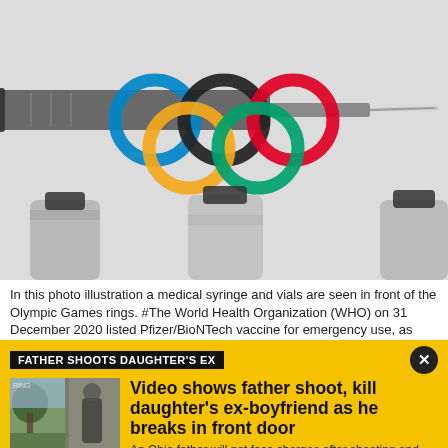[Figure (photo): Photo illustration showing a medical syringe and vaccine vials in front of the Olympic Games rings (blue, black, red, yellow, green) on a white background.]
In this photo illustration a medical syringe and vials are seen in front of the Olympic Games rings. #The World Health Organization (WHO) on 31 December 2020 listed Pfizer/BioNTech vaccine for emergency use, as
FATHER SHOOTS DAUGHTER'S EX
[Figure (photo): Thumbnail image showing a doorbell security camera video still of a man outside a front door.]
Video shows father shoot, kill daughter's ex-boyfriend as he breaks in front door
An Ohio father will not face charges after shooting and killing his daughter's ex-boyfriend as he broke through their front door.